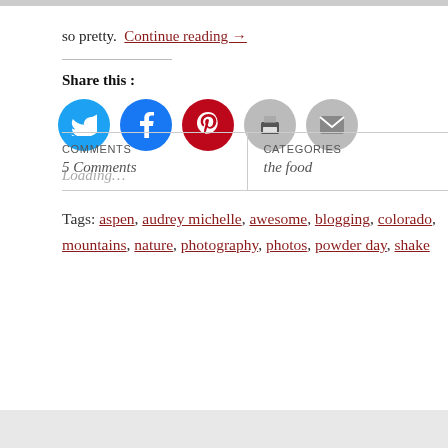so pretty.  Continue reading →
Share this :
[Figure (infographic): Five social sharing icon circles: Twitter (blue), Facebook (blue), Pinterest (red), Print (gray), Email (gray)]
Loading…
Tags: aspen, audrey michelle, awesome, blogging, colorado, mountains, nature, photography, photos, powder day, shake
| COMMENTS | CATEGORIES |
| --- | --- |
| 5 Comments | the food |